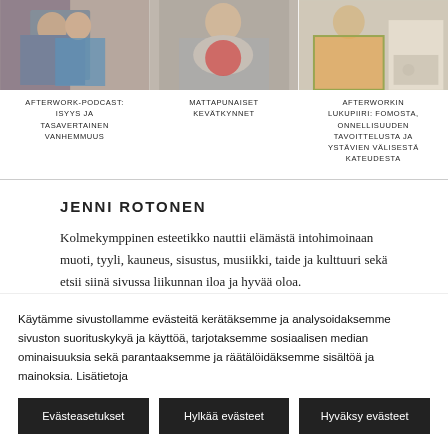[Figure (photo): Three photos side by side: left shows two people hugging, center shows a person with knitting/yarn in muted tones, right shows a person in a floral outfit at a table setting.]
AFTERWORK-PODCAST: ISYYS JA TASAVERTAINEN VANHEMMUUS
MATTAPUNAISET KEVÄTKYNNET
AFTERWORKIN LUKUPIIRI: FOMOSTA, ONNELLISUUDEN TAVOITTELUSTA JA YSTÄVIEN VÄLISESTÄ KATEUDESTA
JENNI ROTONEN
Kolmekymppinen esteetikko nauttii elämästä intohimoinaan muoti, tyyli, kauneus, sisustus, musiikki, taide ja kulttuuri sekä etsii siinä sivussa liikunnan iloa ja hyvää oloa.
Käytämme sivustollamme evästeitä kerätäksemme ja analysoidaksemme sivuston suorituskykyä ja käyttöä, tarjotaksemme sosiaalisen median ominaisuuksia sekä parantaaksemme ja räätälöidäksemme sisältöä ja mainoksia. Lisätietoja
Evästeasetukset
Hylkää evästeet
Hyväksy evästeet